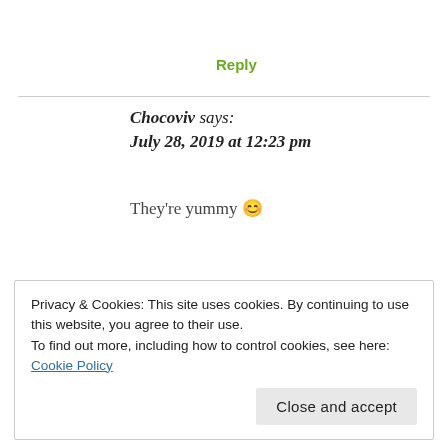Reply
Chocoviv says:
July 28, 2019 at 12:23 pm
They're yummy 😊
★ Like
Privacy & Cookies: This site uses cookies. By continuing to use this website, you agree to their use.
To find out more, including how to control cookies, see here: Cookie Policy
Close and accept